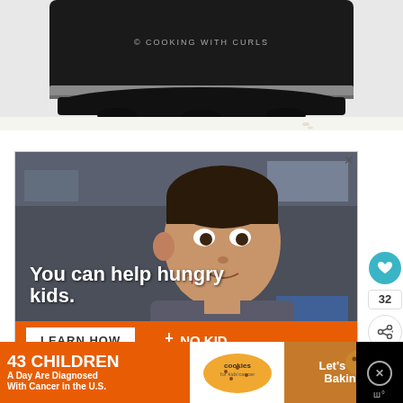[Figure (photo): Close-up bottom portion of a black and silver Instant Pot / pressure cooker appliance on a white surface, with watermark '© COOKING WITH CURLS']
[Figure (photo): Advertisement showing a young boy eating something in a classroom, with text overlay 'You can help hungry kids.' and a learn how button with NO KID branding at bottom]
[Figure (photo): Bottom banner advertisement: orange section '43 CHILDREN A Day Are Diagnosed With Cancer in the U.S.', middle white section with cookies for kids cancer logo, right brown section 'Let's Get Baking']